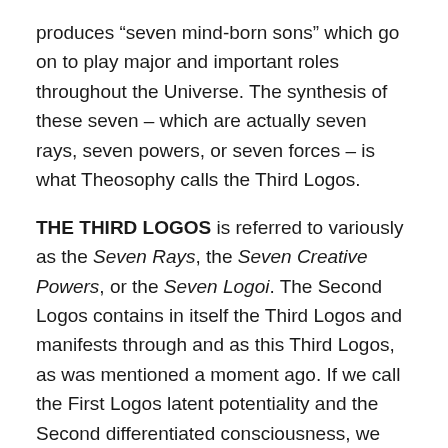produces “seven mind-born sons” which go on to play major and important roles throughout the Universe. The synthesis of these seven – which are actually seven rays, seven powers, or seven forces – is what Theosophy calls the Third Logos.
THE THIRD LOGOS is referred to variously as the Seven Rays, the Seven Creative Powers, or the Seven Logoi. The Second Logos contains in itself the Third Logos and manifests through and as this Third Logos, as was mentioned a moment ago. If we call the First Logos latent potentiality and the Second differentiated consciousness, we can refer to the Third as the ultimate differentiation of the Second, in the form of individualised cosmic forces. From them “will proceed the innumerable series of Hierarchies.”